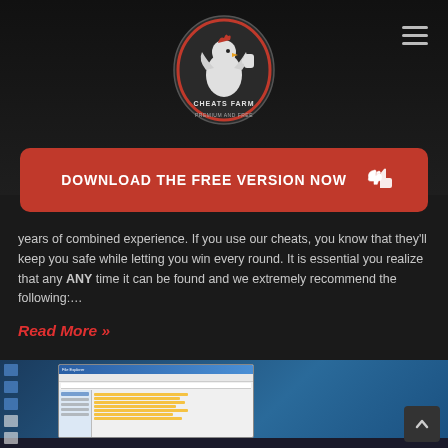Cheats Farm logo and hamburger menu
[Figure (logo): Cheats Farm rooster mascot logo in circular badge style with red and white colors]
DOWNLOAD THE FREE VERSION NOW
years of combined experience. If you use our cheats, you know that they'll keep you safe while letting you win every round. It is essential you realize that any ANY time it can be found and we extremely recommend the following:…
Read More »
[Figure (screenshot): Screenshot of a Windows 10 desktop with a File Explorer window open showing folder contents]